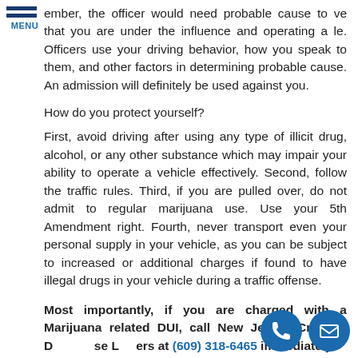[Figure (logo): Navigation menu icon with two horizontal blue bars and MENU label below]
ember, the officer would need probable cause to ve that you are under the influence and operating a le. Officers use your driving behavior, how you speak to them, and other factors in determining probable cause. An admission will definitely be used against you.
How do you protect yourself?
First, avoid driving after using any type of illicit drug, alcohol, or any other substance which may impair your ability to operate a vehicle effectively. Second, follow the traffic rules. Third, if you are pulled over, do not admit to regular marijuana use. Use your 5th Amendment right. Fourth, never transport even your personal supply in your vehicle, as you can be subject to increased or additional charges if found to have illegal drugs in your vehicle during a traffic offense.
Most importantly, if you are charged with a Marijuana related DUI, call New Jersey Criminal Defense Lawyers at (609) 318-6465 immediately!